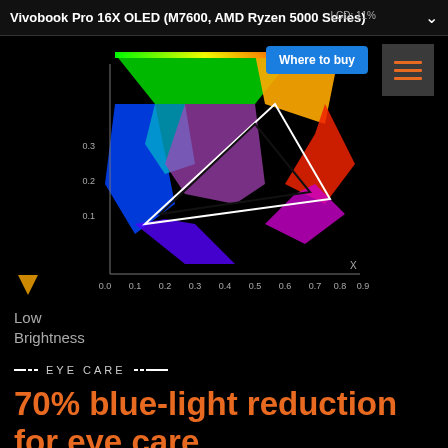Vivobook Pro 16X OLED (M7600, AMD Ryzen 5000 Series)
[Figure (other): CIE chromaticity diagram showing color gamut comparison between OLED and LCD displays, with a white triangle (OLED gamut) and black triangle (LCD gamut) plotted on a colorful horseshoe-shaped background. X-axis ranges 0.0 to 0.9, Y-axis shows 0.1, 0.2, 0.3. A downward yellow arrow on the left indicates Low Brightness. LCD: 11% label visible at top.]
Low
Brightness
EYE CARE
70% blue-light reduction for eye care